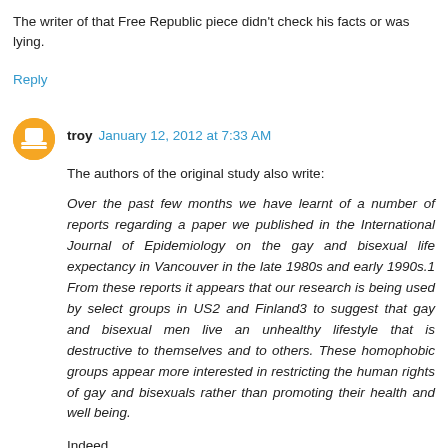The writer of that Free Republic piece didn't check his facts or was lying.
Reply
troy  January 12, 2012 at 7:33 AM
The authors of the original study also write:
Over the past few months we have learnt of a number of reports regarding a paper we published in the International Journal of Epidemiology on the gay and bisexual life expectancy in Vancouver in the late 1980s and early 1990s.1 From these reports it appears that our research is being used by select groups in US2 and Finland3 to suggest that gay and bisexual men live an unhealthy lifestyle that is destructive to themselves and to others. These homophobic groups appear more interested in restricting the human rights of gay and bisexuals rather than promoting their health and well being.
Indeed.